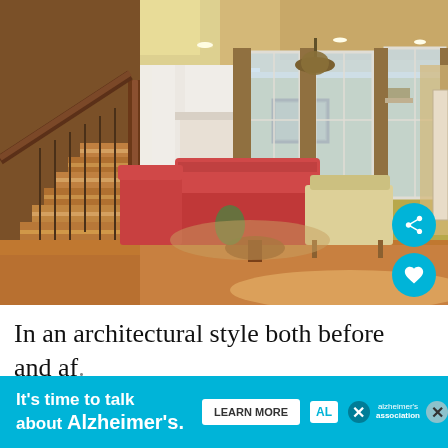[Figure (photo): Interior photo of a traditional Georgian-style living room with hardwood floors, red striped sofas, a wicker chair, staircase with wood railing on the left, fireplace, large windows with curtains, and a chandelier.]
In an architectural style both before and af. the Georgian architectural style, you will find a lo... room
[Figure (infographic): Advertisement banner: 'It's time to talk about Alzheimer's.' with a LEARN MORE button and Alzheimer's Association logo, with close buttons.]